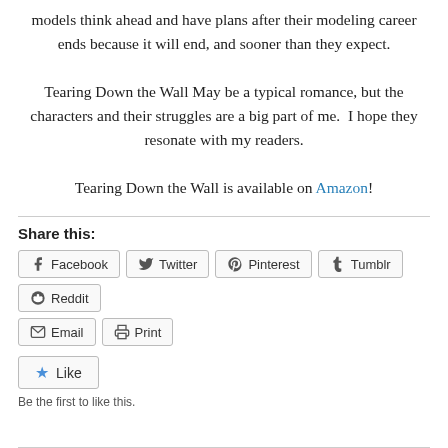models think ahead and have plans after their modeling career ends because it will end, and sooner than they expect.
Tearing Down the Wall May be a typical romance, but the characters and their struggles are a big part of me.  I hope they resonate with my readers.
Tearing Down the Wall is available on Amazon!
Share this:
Facebook  Twitter  Pinterest  Tumblr  Reddit  Email  Print
Like
Be the first to like this.